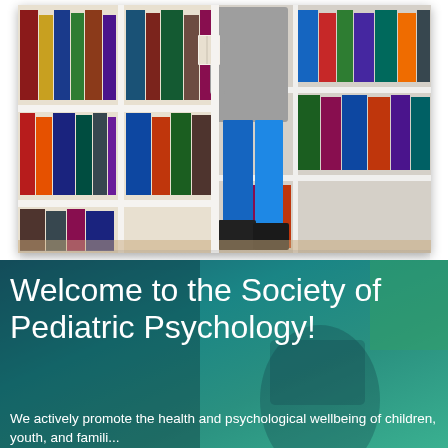[Figure (photo): A person browsing books in a library with white bookshelves filled with colorful books. The person is wearing a gray sweater, blue jeans, and black boots, and is holding a book while standing between the shelves.]
Welcome to the Society of Pediatric Psychology!
We actively promote the health and psychological wellbeing of children, youth, and families...